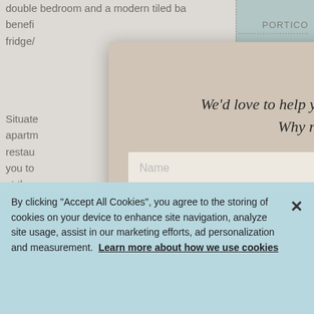double bedroom and a modern tiled ba... benefit... fridge/...
Situated... apartm... restau... you to... at the... prope... spaces... Woolst... Epping...
This ch... invest... perfe...
[Figure (screenshot): Modal popup overlay on a real estate website showing 'WAIT ...' heading and a property search lead capture form with Name, Telephone/Mobile, and Email fields. Background shows Portico branding in a blue sidebar.]
By clicking "Accept All Cookies", you agree to the storing of cookies on your device to enhance site navigation, analyze site usage, assist in our marketing efforts, ad personalization and measurement. Learn more about how we use cookies